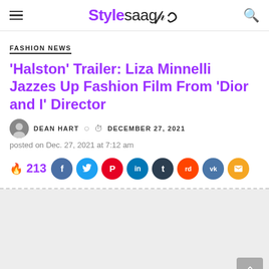Stylesaag
FASHION NEWS
'Halston' Trailer: Liza Minnelli Jazzes Up Fashion Film From 'Dior and I' Director
DEAN HART  DECEMBER 27, 2021
posted on Dec. 27, 2021 at 7:12 am
213